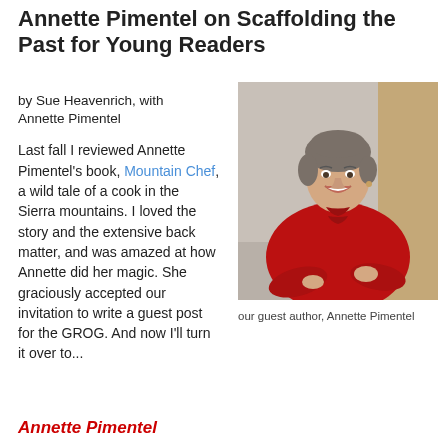Annette Pimentel on Scaffolding the Past for Young Readers
by Sue Heavenrich, with Annette Pimentel
Last fall I reviewed Annette Pimentel's book, Mountain Chef, a wild tale of a cook in the Sierra mountains. I loved the story and the extensive back matter, and was amazed at how Annette did her magic. She graciously accepted our invitation to write a guest post for the GROG. And now I'll turn it over to...
[Figure (photo): Portrait photo of Annette Pimentel, a woman with short gray-brown hair wearing a red top, arms crossed, smiling]
our guest author, Annette Pimentel
Annette Pimentel